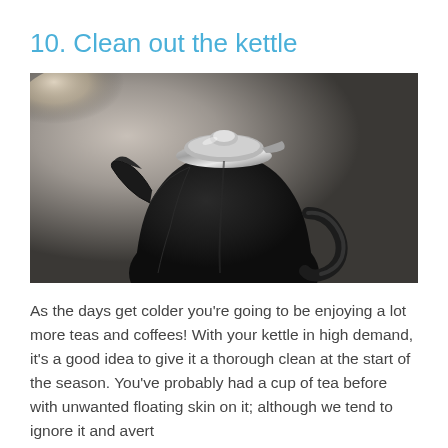10. Clean out the kettle
[Figure (photo): A dark-colored kettle/jug with a chrome/silver lid and handle, photographed against a grey background with soft lighting from the upper left.]
As the days get colder you’re going to be enjoying a lot more teas and coffees! With your kettle in high demand, it’s a good idea to give it a thorough clean at the start of the season. You’ve probably had a cup of tea before with unwanted floating skin on it; although we tend to ignore it and avert